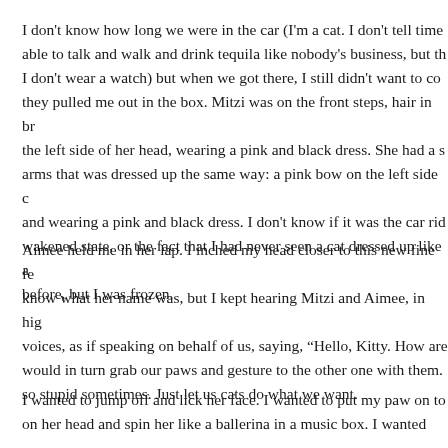I don't know how long we were in the car (I'm a cat. I don't tell time able to talk and walk and drink tequila like nobody's business, but th I don't wear a watch) but when we got there, I still didn't want to co they pulled me out in the box. Mitzi was on the front steps, hair in br the left side of her head, wearing a pink and black dress. She had a s arms that was dressed up the same way: a pink bow on the left side o and wearing a pink and black dress. I don't know if it was the car rid wakened state, or the fact that I had never seen a cat dressed up like a before, but I was frozen.
Aimee held me in her lap. I inched my head closer to this new fine fe know what her name was, but I kept hearing Mitzi and Aimee, in hig voices, as if speaking on behalf of us, saying, "Hello, Kitty. How are would in turn grab our paws and gesture to the other one with them. so stupid sometimes. Just let us cats do what we want.
I wanted to jump off and lick her face. I wanted to put my paw on to on her head and spin her like a ballerina in a music box. I wanted